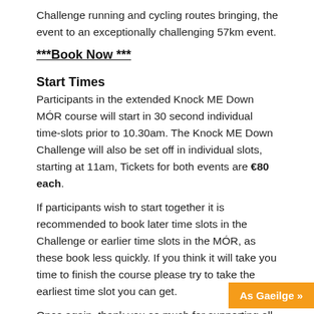Challenge running and cycling routes bringing, the event to an exceptionally challenging 57km event.
***Book Now ***
Start Times
Participants in the extended Knock ME Down MÓR course will start in 30 second individual time-slots prior to 10.30am. The Knock ME Down Challenge will also be set off in individual slots, starting at 11am, Tickets for both events are €80 each.
If participants wish to start together it is recommended to book later time slots in the Challenge or earlier time slots in the MÓR, as these book less quickly. If you think it will take you time to finish the course please try to take the earliest time slot you can get.
Once again, thank you so much for supporting all of our events and we look forward to see...